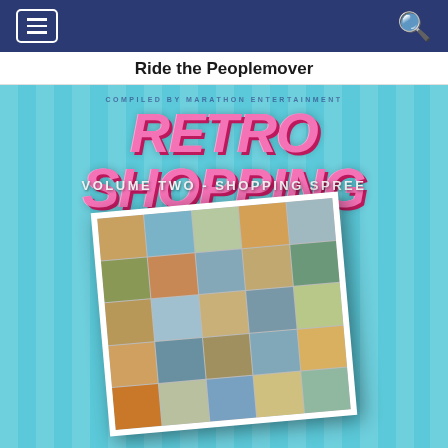Ride the Peoplemover
[Figure (illustration): Album cover for 'Retro Shopping Volume Two - Shopping Spree' featuring pink bubbly retro text 'RETRO SHOPPING' on a light blue striped background, with a collage of vintage shopping mall postcard photos arranged in a tilted grid. Text 'VOLUME TWO - SHOPPING SPREE' appears below the main title.]